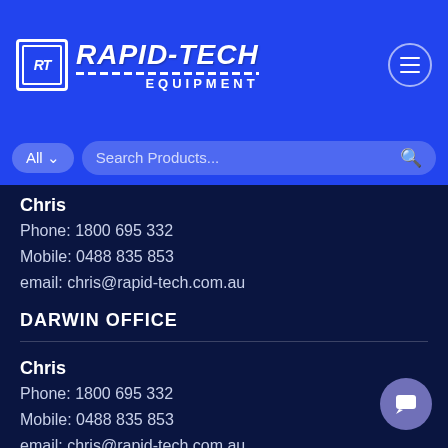[Figure (logo): Rapid-Tech Equipment logo with RT initials in a box on blue header background, with hamburger menu icon and search bar]
Chris
Phone: 1800 695 332
Mobile: 0488 835 853
email: chris@rapid-tech.com.au
DARWIN OFFICE
Chris
Phone: 1800 695 332
Mobile: 0488 835 853
email: chris@rapid-tech.com.au